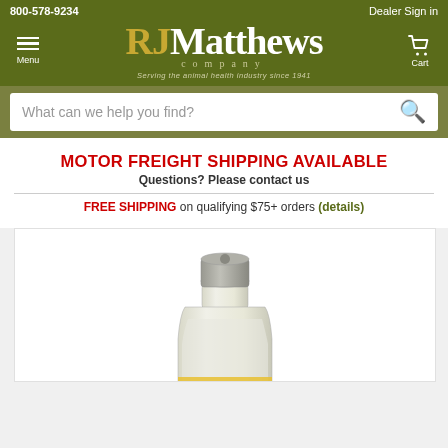800-578-9234 | Dealer Sign in
[Figure (logo): RJ Matthews Company logo - RJ in gold, Matthews in white, company in spaced letters, tagline: Serving the animal health industry since 1941]
Menu
Cart
What can we help you find?
MOTOR FREIGHT SHIPPING AVAILABLE
Questions? Please contact us
FREE SHIPPING on qualifying $75+ orders (details)
[Figure (photo): A glass pharmaceutical vial with a silver metal cap, partially shown, containing a light-colored liquid. Yellow label partially visible at bottom.]